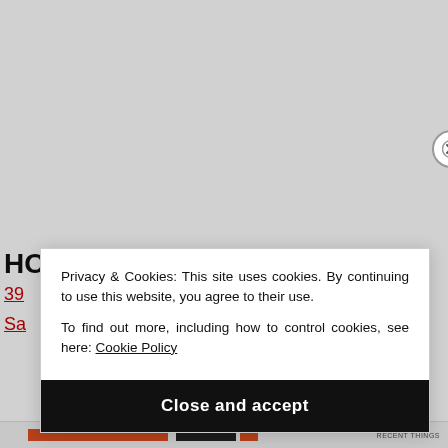H
39
Sa
Privacy & Cookies: This site uses cookies. By continuing to use this website, you agree to their use. To find out more, including how to control cookies, see here: Cookie Policy
Close and accept